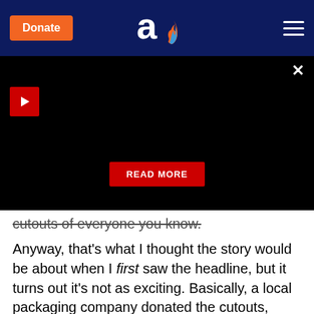Donate | [logo] | [menu]
[Figure (screenshot): Black video/media panel with a red play button in the top-left, a close (X) button in the top-right, and a red READ MORE button centered near the bottom]
cutouts of everyone you know.
Anyway, that's what I thought the story would be about when I first saw the headline, but it turns out it's not as exciting. Basically, a local packaging company donated the cutouts, which were just various brown cardboard-colored outlines that only look like there might be people there if you dim the lights, like, a lot. And it's not anyone the couple knows. So if you do this, it's basically going to be a creepy wedding, walking down the aisle